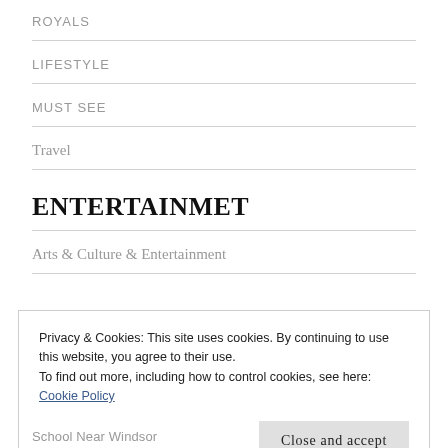ROYALS
LIFESTYLE
MUST SEE
Travel
ENTERTAINMET
Arts & Culture & Entertainment
Privacy & Cookies: This site uses cookies. By continuing to use this website, you agree to their use.
To find out more, including how to control cookies, see here: Cookie Policy
Close and accept
School Near Windsor